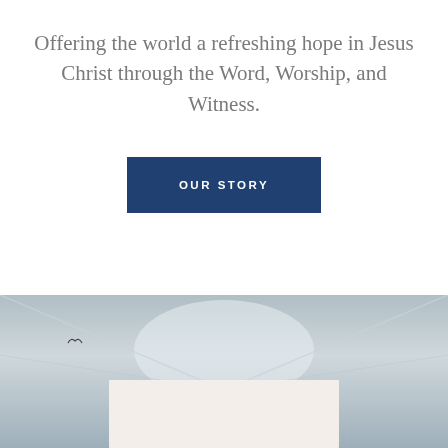Offering the world a refreshing hope in Jesus Christ through the Word, Worship, and Witness.
OUR STORY
[Figure (photo): Interior ceiling/sky photo with soft grey tones, a small bird silhouette, and a white card overlay at the bottom.]